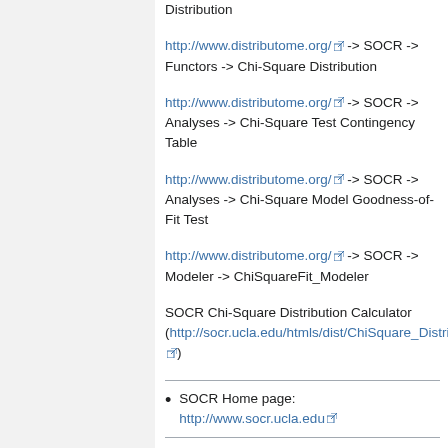Distribution
http://www.distributome.org/ -> SOCR -> Functors -> Chi-Square Distribution
http://www.distributome.org/ -> SOCR -> Analyses -> Chi-Square Test Contingency Table
http://www.distributome.org/ -> SOCR -> Analyses -> Chi-Square Model Goodness-of-Fit Test
http://www.distributome.org/ -> SOCR -> Modeler -> ChiSquareFit_Modeler
SOCR Chi-Square Distribution Calculator (http://socr.ucla.edu/htmls/dist/ChiSquare_Distribution.html)
SOCR Home page: http://www.socr.ucla.edu
Translate this page: